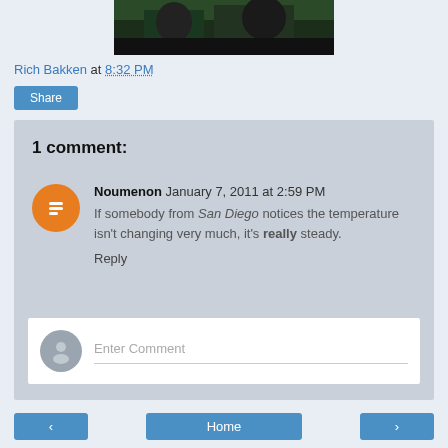[Figure (photo): Partial top of a photo showing people at what appears to be a sporting event or stadium setting with green/dark background.]
Rich Bakken at 8:32 PM
Share
1 comment:
Noumenon  January 7, 2011 at 2:59 PM
If somebody from San Diego notices the temperature isn't changing very much, it's really steady.
Reply
Enter Comment
Home